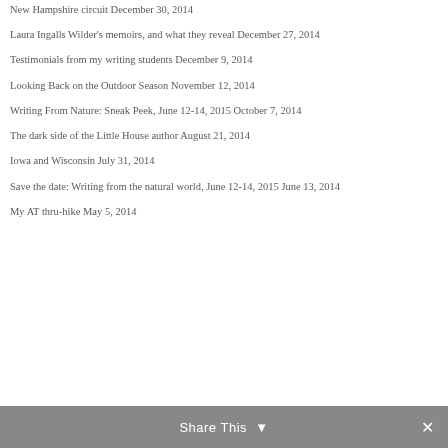New Hampshire circuit December 30, 2014
Laura Ingalls Wilder's memoirs, and what they reveal December 27, 2014
Testimonials from my writing students December 9, 2014
Looking Back on the Outdoor Season November 12, 2014
Writing From Nature: Sneak Peek, June 12-14, 2015 October 7, 2014
The dark side of the Little House author August 21, 2014
Iowa and Wisconsin July 31, 2014
Save the date: Writing from the natural world, June 12-14, 2015 June 13, 2014
My AT thru-hike May 5, 2014
Share This ∨  ✕